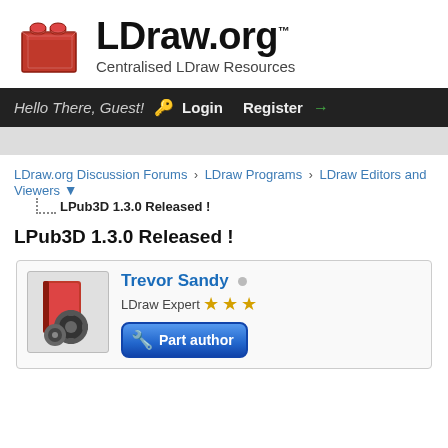[Figure (logo): LDraw.org logo with red LEGO brick and site name 'LDraw.org' with subtitle 'Centralised LDraw Resources']
Hello There, Guest! Login Register
LDraw.org Discussion Forums › LDraw Programs › LDraw Editors and Viewers ▼ LPub3D 1.3.0 Released !
LPub3D 1.3.0 Released !
[Figure (photo): User avatar for Trevor Sandy showing a red book/folder with gear icons]
Trevor Sandy • LDraw Expert ★★★ Part author